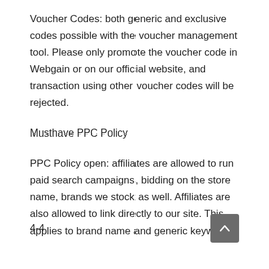Voucher Codes: both generic and exclusive codes possible with the voucher management tool. Please only promote the voucher code in Webgain or on our official website, and transaction using other voucher codes will be rejected.
Musthave PPC Policy
PPC Policy open: affiliates are allowed to run paid search campaigns, bidding on the store name, brands we stock as well. Affiliates are also allowed to link directly to our site. This applies to brand name and generic keywords.
4-4